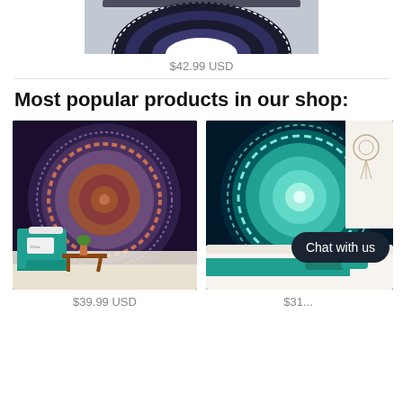[Figure (photo): Top portion of a circular mandala tapestry product image with black and white elephant pattern border, partially cropped]
$42.99 USD
Most popular products in our shop:
[Figure (photo): Purple and red mandala tapestry hung on a wall behind a teal armchair and wooden coffee table with plants]
[Figure (photo): Teal and dark blue peacock mandala tapestry hung on a white wall in a bedroom with white sofa and teal pillows, with a Chat with us button overlay]
$39.99 USD
$31...